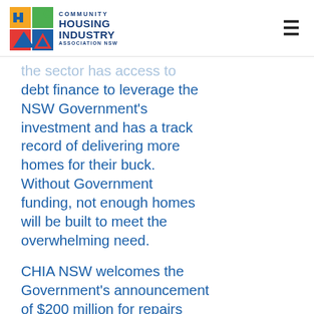[Figure (logo): Community Housing Industry Association NSW logo with colorful grid icon and bold blue text]
the sector has access to debt finance to leverage the NSW Government's investment and has a track record of delivering more homes for their buck. Without Government funding, not enough homes will be built to meet the overwhelming need.
CHIA NSW welcomes the Government's announcement of $200 million for repairs and maintenance on existing